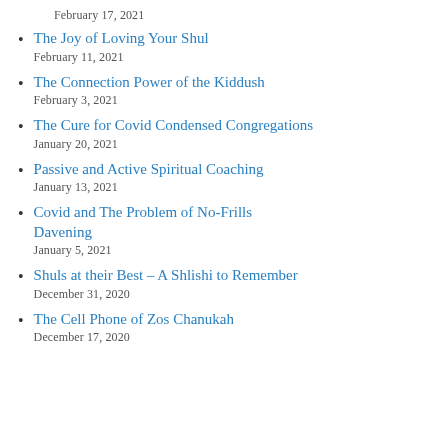February 17, 2021
The Joy of Loving Your Shul
February 11, 2021
The Connection Power of the Kiddush
February 3, 2021
The Cure for Covid Condensed Congregations
January 20, 2021
Passive and Active Spiritual Coaching
January 13, 2021
Covid and The Problem of No-Frills Davening
January 5, 2021
Shuls at their Best – A Shlishi to Remember
December 31, 2020
The Cell Phone of Zos Chanukah
December 17, 2020